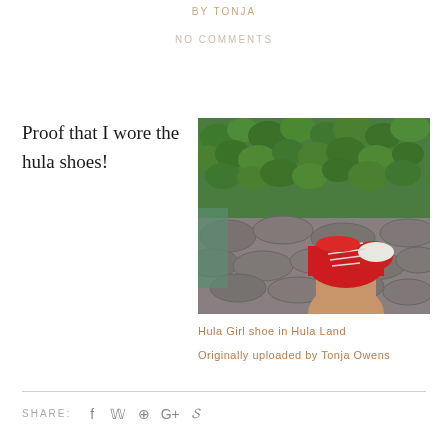BY TONJA
NO COMMENTS
Proof that I wore the hula shoes!
[Figure (photo): A person's lower leg and foot wearing a red Hula Girl sneaker/canvas shoe, photographed from above looking down. The background shows a stone cobblestone or lava rock surface and lush green foliage/clover.]
Hula Girl shoe in Hula Land
Originally uploaded by Tonja Owens
SHARE: